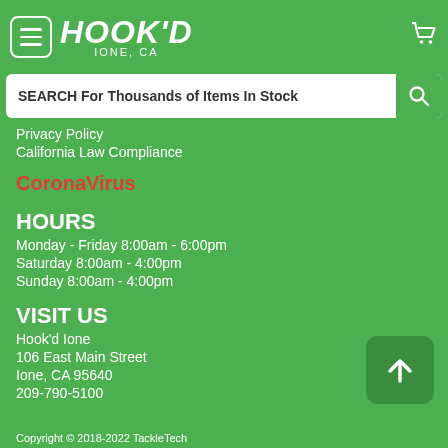HOOK'D IONE, CA
SEARCH For Thousands of Items In Stock
Privacy Policy
California Law Compliance
CoronaVirus
HOURS
Monday - Friday 8:00am - 6:00pm
Saturday 8:00am - 4:00pm
Sunday 8:00am - 4:00pm
VISIT US
Hook'd Ione
106 East Main Street
Ione, CA 95640
209-790-5100
Copyright © 2018-2022 TackleTech